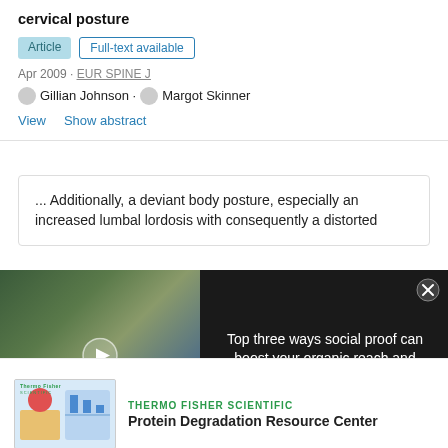cervical posture
Article   Full-text available
Apr 2009 · EUR SPINE J
Gillian Johnson · Margot Skinner
View   Show abstract
... Additionally, a deviant body posture, especially an increased lumbal lordosis with consequently a distorted
[Figure (screenshot): Video overlay advertisement: 'Top three ways social proof can boost your organic reach and engagement' with a laboratory video thumbnail on the left and text on the right, on a dark background. A close button (X) is in the top right corner.]
[Figure (screenshot): Advertisement banner for Thermo Fisher Scientific Protein Degradation Resource Center, with a diagram image on the left and bold text on the right.]